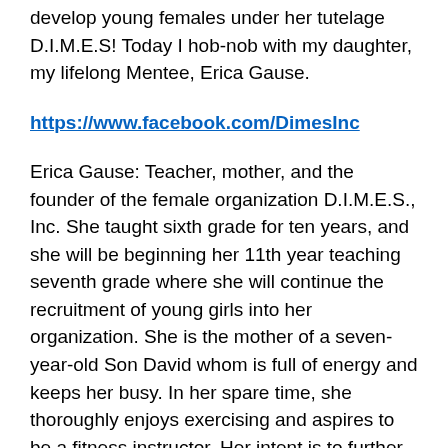develop young females under her tutelage D.I.M.E.S! Today I hob-nob with my daughter, my lifelong Mentee, Erica Gause.
https://www.facebook.com/DimesInc
Erica Gause: Teacher, mother, and the founder of the female organization D.I.M.E.S., Inc. She taught sixth grade for ten years, and she will be beginning her 11th year teaching seventh grade where she will continue the recruitment of young girls into her organization. She is the mother of a seven-year-old Son David whom is full of energy and keeps her busy. In her spare time, she thoroughly enjoys exercising and aspires to be a fitness instructor. Her intent is to further pursue